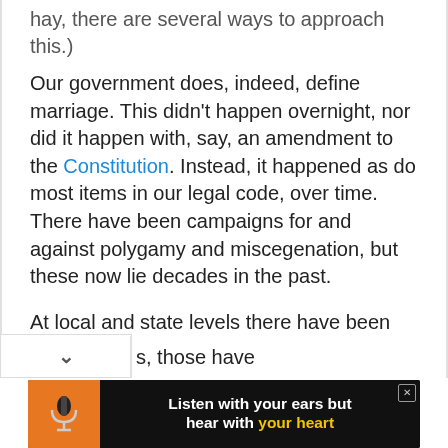hay, there are several ways to approach this.)
Our government does, indeed, define marriage. This didn't happen overnight, nor did it happen with, say, an amendment to the Constitution. Instead, it happened as do most items in our legal code, over time. There have been campaigns for and against polygamy and miscegenation, but these now lie decades in the past.
At local and state levels there have been various strictures on who can marry whom and what kinds of sexual acts are legal and illegal. And, as with so many s, those have
[Figure (other): Advertisement banner: microphone image on orange background, text reads 'Listen with your ears but hear with your heart' with 'your heart' in yellow]